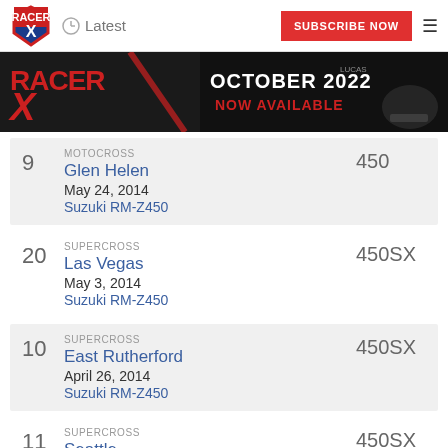Racer X | Latest | SUBSCRIBE NOW
[Figure (illustration): Racer X October 2022 Now Available banner advertisement with motocross rider]
9 | MOTOCROSS | Glen Helen | May 24, 2014 | Suzuki RM-Z450 | 450
20 | SUPERCROSS | Las Vegas | May 3, 2014 | Suzuki RM-Z450 | 450SX
10 | SUPERCROSS | East Rutherford | April 26, 2014 | Suzuki RM-Z450 | 450SX
11 | SUPERCROSS | Seattle | April 12, 2014 | 450SX